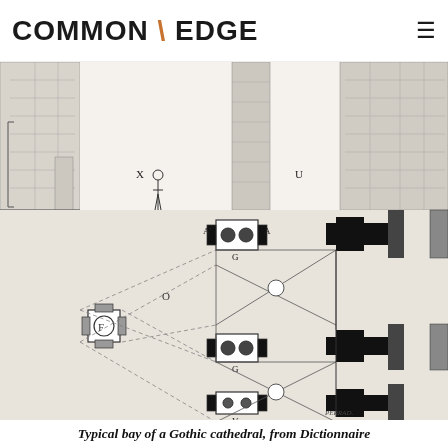COMMON \ EDGE
[Figure (engineering-diagram): Architectural diagram of a typical bay of a Gothic cathedral, showing both a cross-section elevation (top) with columns, masonry, and a human figure for scale labeled X and U, and a plan view (bottom) showing the layout of piers, ribs, columns, and vaulting labeled with letters A, G, O, F, V, D, and signed PERRAD at bottom right.]
Typical bay of a Gothic cathedral, from Dictionnaire